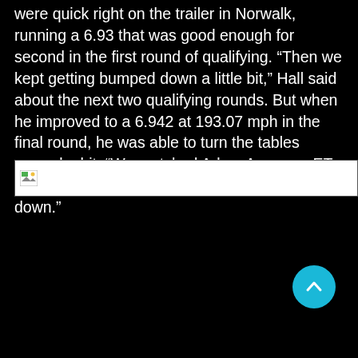were quick right on the trailer in Norwalk, running a 6.93 that was good enough for second in the first round of qualifying. “Then we kept getting bumped down a little bit,” Hall said about the next two qualifying rounds. But when he improved to a 6.942 at 193.07 mph in the final round, he was able to turn the tables around a bit. “We matched Adam Arana on ET but beat him on MPH, so he got bumped down.”
[Figure (photo): Broken/unavailable image placeholder with small icon in top-left corner]